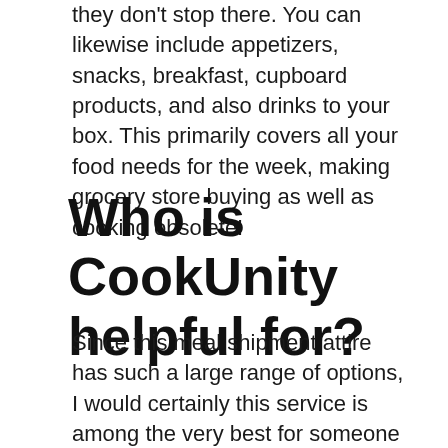they don't stop there. You can likewise include appetizers, snacks, breakfast, cupboard products, and also drinks to your box. This primarily covers all your food needs for the week, making grocery store buying as well as cooking obsolete!
Who is CookUnity helpful for?
Since this meal shipment attire has such a large range of options, I would certainly this service is among the very best for someone with a curious palate as well as likes to attempt brand-new meals. The food is all over the map, quite essentially, with loads of world foods represented, however there is